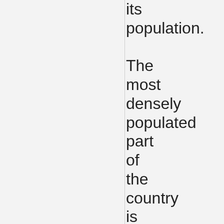its population. The most densely populated part of the country is the Great Lakes-Saint Lawrence